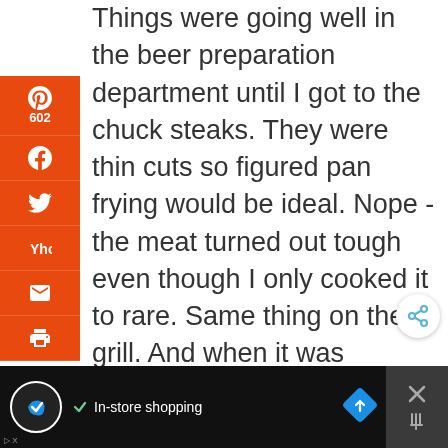Things were going well in the beer preparation department until I got to the chuck steaks. They were thin cuts so figured pan frying would be ideal. Nope - the meat turned out tough even though I only cooked it to rare. Same thing on the grill. And when it was smoked. And when I tried slow cooking the steaks. That darn chuck steak was
[Figure (screenshot): Social media sharing sidebar with Pinterest (602), Facebook, Twitter, Yahoo, Email, and Print icons on orange background]
[Figure (screenshot): Advertisement bar at bottom: black background with circular logo, checkmark, 'In-store shopping' text, blue arrow icon, and close X button]